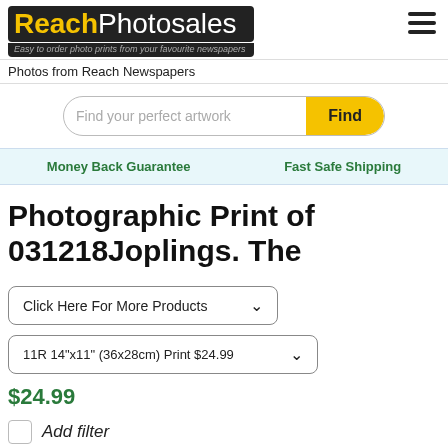[Figure (logo): ReachPhotosales logo with yellow and white text on dark background, subtitle: Easy to order photo prints from your favourite newspapers]
Photos from Reach Newspapers
Find your perfect artwork
Find
Money Back Guarantee
Fast Safe Shipping
Photographic Print of 031218Joplings. The
Click Here For More Products
11R 14"x11" (36x28cm) Print $24.99
$24.99
Add filter